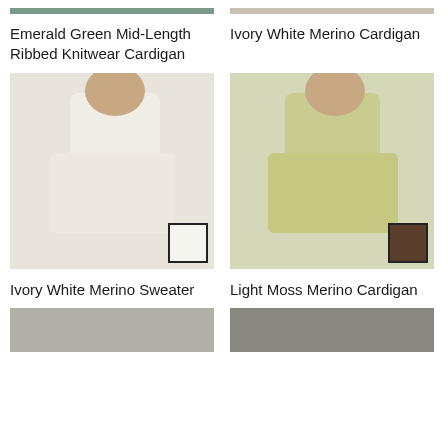[Figure (photo): Top partial view of Emerald Green Mid-Length Ribbed Knitwear Cardigan product photo]
[Figure (photo): Top partial view of Ivory White Merino Cardigan product photo]
Emerald Green Mid-Length Ribbed Knitwear Cardigan
Ivory White Merino Cardigan
[Figure (photo): Woman wearing Ivory White Merino Sweater seated outdoors with white color swatch overlay]
[Figure (photo): Woman wearing Light Moss Merino Cardigan seated outdoors with brown color swatch overlay]
Ivory White Merino Sweater
Light Moss Merino Cardigan
[Figure (photo): Bottom partial view of a third product photo (left column)]
[Figure (photo): Bottom partial view of a third product photo (right column)]